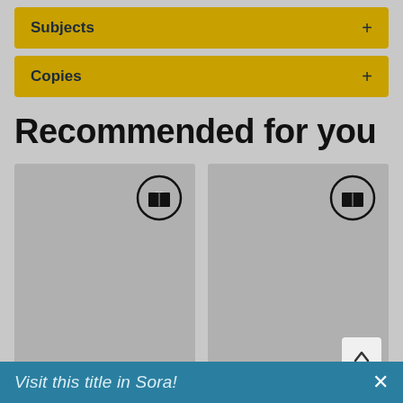Subjects +
Copies +
Recommended for you
[Figure (screenshot): Two gray book card placeholders each with a book icon (open book in circle) in the top right corner. A scroll-to-top button is shown on the second card.]
Visit this title in Sora!